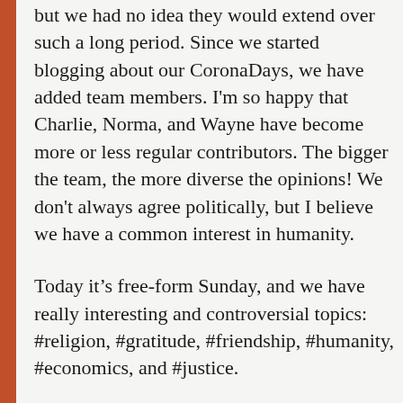but we had no idea they would extend over such a long period. Since we started blogging about our CoronaDays, we have added team members. I'm so happy that Charlie, Norma, and Wayne have become more or less regular contributors. The bigger the team, the more diverse the opinions! We don't always agree politically, but I believe we have a common interest in humanity.
Today it's free-form Sunday, and we have really interesting and controversial topics: #religion, #gratitude, #friendship, #humanity, #economics, and #justice.
I hope you enjoy the posts! I'll be back tomorrow. In the meantime, #EidMubarak to all